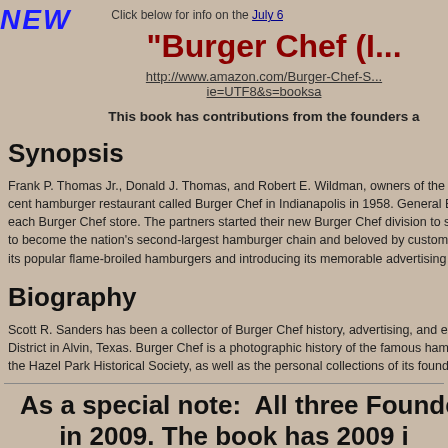NEW    Click below for info on the July 6
"Burger Chef (I...
http://www.amazon.com/Burger-Chef-S...ie=UTF8&s=booksa
This book has contributions from the founders a
Synopsis
Frank P. Thomas Jr., Donald J. Thomas, and Robert E. Wildman, owners of the G cent hamburger restaurant called Burger Chef in Indianapolis in 1958. General Eq each Burger Chef store. The partners started their new Burger Chef division to sel to become the nation's second-largest hamburger chain and beloved by customer its popular flame-broiled hamburgers and introducing its memorable advertising ic
Biography
Scott R. Sanders has been a collector of Burger Chef history, advertising, and eph District in Alvin, Texas. Burger Chef is a photographic history of the famous hambu the Hazel Park Historical Society, as well as the personal collections of its founder
As a special note:  All three Founde in 2009. The book has 2009 i